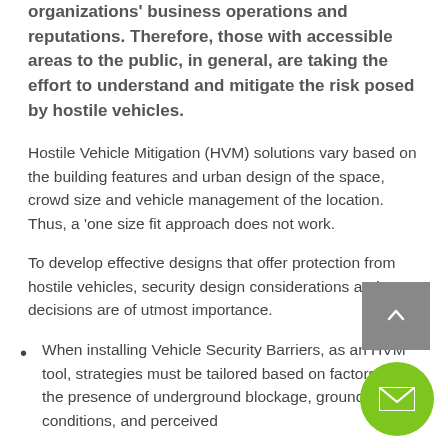organizations' business operations and reputations. Therefore, those with accessible areas to the public, in general, are taking the effort to understand and mitigate the risk posed by hostile vehicles.
Hostile Vehicle Mitigation (HVM) solutions vary based on the building features and urban design of the space, crowd size and vehicle management of the location. Thus, a 'one size fit approach does not work.
To develop effective designs that offer protection from hostile vehicles, security design considerations and decisions are of utmost importance.
When installing Vehicle Security Barriers, as an HVM tool, strategies must be tailored based on factors like the presence of underground blockage, ground conditions, and perceived